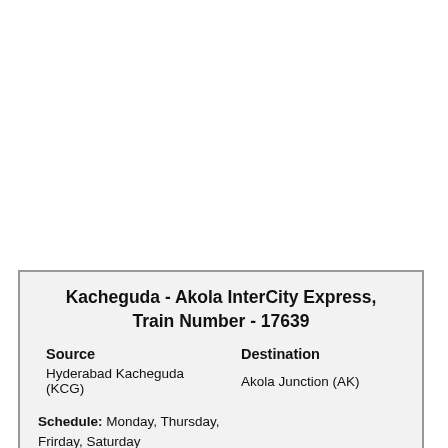Kacheguda - Akola InterCity Express, Train Number - 17639
| Source | Destination |
| --- | --- |
| Hyderabad Kacheguda (KCG) | Akola Junction (AK) |
Schedule: Monday, Thursday, Frirday, Saturday